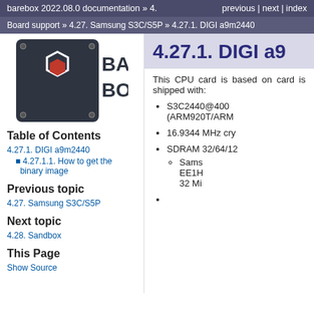barebox 2022.08.0 documentation » 4.    previous | next | index
Board support » 4.27. Samsung S3C/S5P » 4.27.1. DIGI a9m2440
[Figure (logo): Barebox logo: dark square with white hexagon outline and red hexagon, text BARE BOX]
Table of Contents
4.27.1. DIGI a9m2440
4.27.1.1. How to get the binary image
Previous topic
4.27. Samsung S3C/S5P
Next topic
4.28. Sandbox
This Page
Show Source
4.27.1. DIGI a9
This CPU card is based on card is shipped with:
S3C2440@400 (ARM920T/ARM
16.9344 MHz cry
SDRAM 32/64/12
Sams EE1H 32 Mi